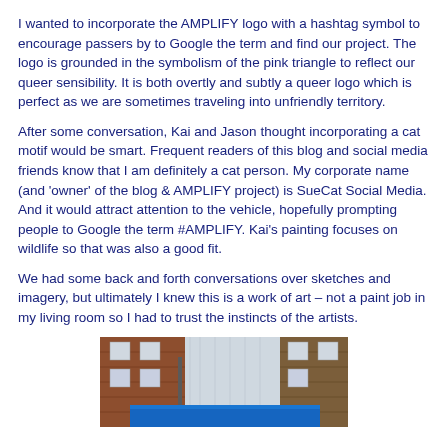I wanted to incorporate the AMPLIFY logo with a hashtag symbol to encourage passers by to Google the term and find our project. The logo is grounded in the symbolism of the pink triangle to reflect our queer sensibility. It is both overtly and subtly a queer logo which is perfect as we are sometimes traveling into unfriendly territory.
After some conversation, Kai and Jason thought incorporating a cat motif would be smart. Frequent readers of this blog and social media friends know that I am definitely a cat person. My corporate name (and 'owner' of the blog & AMPLIFY project) is SueCat Social Media. And it would attract attention to the vehicle, hopefully prompting people to Google the term #AMPLIFY. Kai's painting focuses on wildlife so that was also a good fit.
We had some back and forth conversations over sketches and imagery, but ultimately I knew this is a work of art – not a paint job in my living room so I had to trust the instincts of the artists.
[Figure (photo): Photograph showing a large vehicle or building exterior with grey/silver paneling in the center, red brick buildings on either side, and a vivid blue tarp or covering visible at the bottom.]